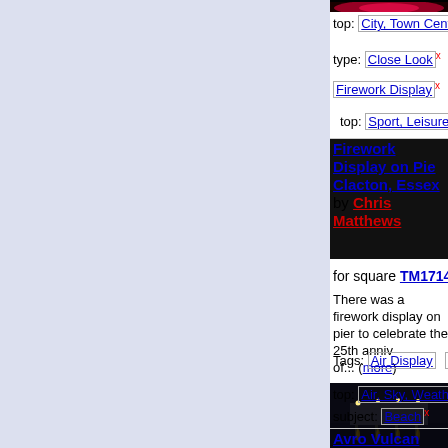[Figure (photo): Top thumbnail - red firework image, partially visible]
top: City, Town Centre x
type: Close Look x   top: Coa...
Firework Display x   subject:
top: Sport, Leisure x
Firework Display on Pie... Clacton, Essex by Chris... Matthews
for square TM1714
There was a firework display on... pier to celebrate the 25th annive... of... (more)
Tags: Air Display   Air Show...
top: Air, Sky, Weather x
subject: Beach x
top: City, Town Centre x
type: Close Look x   top: Coa...
Firework Display x   Pier x
top: Sport, Leisure x
[Figure (photo): Night photo of pier with lights reflected in water]
Avro Vulcan Bomber at Clacton, Essex by Chris...